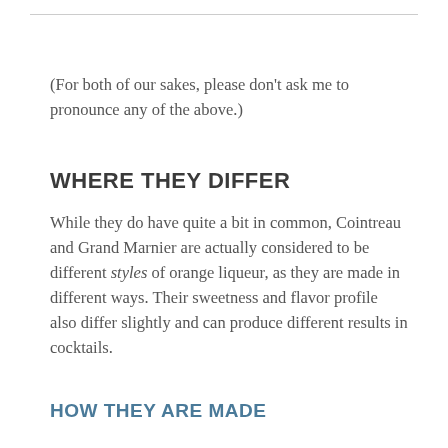(For both of our sakes, please don’t ask me to pronounce any of the above.)
WHERE THEY DIFFER
While they do have quite a bit in common, Cointreau and Grand Marnier are actually considered to be different styles of orange liqueur, as they are made in different ways. Their sweetness and flavor profile also differ slightly and can produce different results in cocktails.
HOW THEY ARE MADE